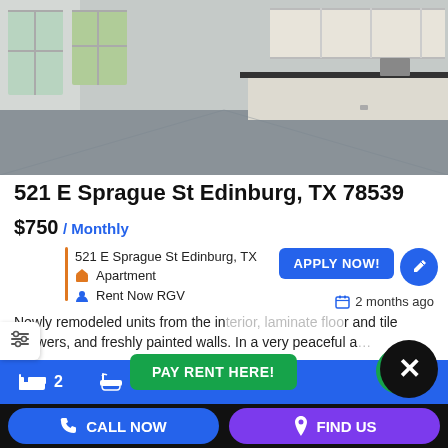[Figure (photo): Interior photo of an empty apartment showing kitchen area with white cabinets, gray floor, and windows]
521 E Sprague St Edinburg, TX 78539
$750 / Monthly
521 E Sprague St Edinburg, TX
Apartment
Rent Now RGV
2 months ago
Newly remodeled units from the in... floo... and tile showers, and freshly painted walls. In a very peaceful a...
2 (bedrooms)
1 (bathrooms)
APPLY NOW!
PAY RENT HERE!
CALL NOW
FIND US